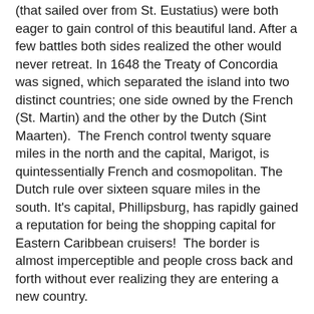(that sailed over from St. Eustatius) were both eager to gain control of this beautiful land. After a few battles both sides realized the other would never retreat. In 1648 the Treaty of Concordia was signed, which separated the island into two distinct countries; one side owned by the French (St. Martin) and the other by the Dutch (Sint Maarten).  The French control twenty square miles in the north and the capital, Marigot, is quintessentially French and cosmopolitan. The Dutch rule over sixteen square miles in the south. It's capital, Phillipsburg, has rapidly gained a reputation for being the shopping capital for Eastern Caribbean cruisers!  The border is almost imperceptible and people cross back and forth without ever realizing they are entering a new country.
Favorite Beaches:
The beautiful beaches are the number one draw on an Eastern Caribbean cruise. On St. Maarten, Dawn Beach as the name suggests, is known for its stunning sunrises, but lovely any time of day! With reefs just off the shoreline it provides great snorkeling opportunities. The surf can sometimes be a little challenging, so for very young children